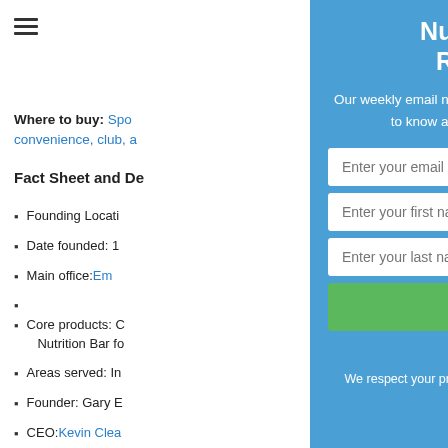[Figure (other): Hamburger menu icon (three horizontal lines)]
Where to buy: Spo[rts, convenience, club, a...]
Fact Sheet and De[tails]
Founding Locati[on: ...]
Date founded: 1[...]
Main office: Em[...]
Core products: C[...] Nutrition Bar fo[r...]
Areas served: In[...]
Founder: Gary E[...]
CEO: Kevin Clea[...]
Website: https:/[...]
Phone: 1-800-25[...]
Nutrition News and Research Digest
Our weekly email news and research digest is everything you need to know about food, nutrition, fitness and health.
Enter your email address
Enter your first name
Enter your last name
Subscribe Now
No Thanks
We respect your privacy. Your information is safe and will NEVER be shared.